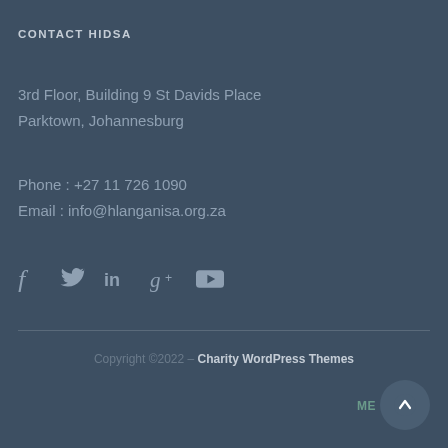CONTACT HIDSA
3rd Floor, Building 9 St Davids Place
Parktown, Johannesburg
Phone : +27 11 726 1090
Email : info@hlanganisa.org.za
[Figure (infographic): Social media icons: Facebook (f), Twitter (bird), LinkedIn (in), Google+ (g+), YouTube (play button)]
Copyright © 2022 – Charity WordPress Themes